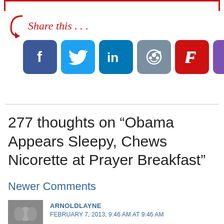[Figure (other): Share this social media buttons row: Facebook, Twitter, LinkedIn, Reddit, Flipboard, Feedly, and a green icon, with a red arrow and 'Share this...' text]
277 thoughts on “Obama Appears Sleepy, Chews Nicorette at Prayer Breakfast”
Newer Comments
ARNOLDLAYNE
FEBRUARY 7, 2013, 9:46 AM AT 9:46 AM